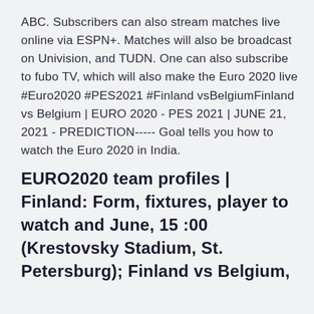ABC. Subscribers can also stream matches live online via ESPN+. Matches will also be broadcast on Univision, and TUDN. One can also subscribe to fubo TV, which will also make the Euro 2020 live #Euro2020 #PES2021 #Finland vsBelgiumFinland vs Belgium | EURO 2020 - PES 2021 | JUNE 21, 2021 - PREDICTION----- Goal tells you how to watch the Euro 2020 in India.
EURO2020 team profiles | Finland: Form, fixtures, player to watch and June, 15 :00 (Krestovsky Stadium, St. Petersburg); Finland vs Belgium,